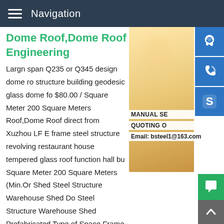Navigation
Dome Roof,Dome Roof direct Engineering
Largn span Q235 or Q345 design dome roof structure building geodesic glass dome for $80.00 / Square Meter 200 Square Meters Roof,Dome Roof direct from Xuzhou LF E frame steel structure revolving restaurant house tempered glass roof function hall bu Square Meter 200 Square Meters (Min.Or Shed Steel Structure Warehouse Shed Do Steel Structure Warehouse Shed Prefabricated Type of Space Frame This project is about the space frame roofing of coal storage for the Power Plant in Batangas,Philippines.The construction structure is in barrel shell shape,full-width is 64.572mfull-leng 175m,height is 25.957m,net span is 61m ,foundation height
[Figure (photo): Woman with headset, customer service representative, with blue sidebar icons (headset, phone, Skype) and contact info overlay: MANUAL SE, QUOTING O, Email: bsteel1@163.com]
[Figure (other): Green chat bubble button and grey back-to-top arrow button in bottom right corner]